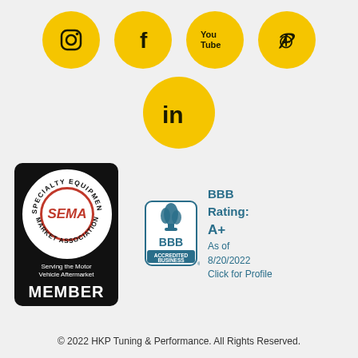[Figure (infographic): Five yellow circular social media icons: Instagram, Facebook, YouTube, Pinterest (top row), and LinkedIn (centered below)]
[Figure (logo): SEMA Specialty Equipment Market Association Member badge — black rounded rectangle with circular SEMA logo and 'MEMBER' text below]
[Figure (logo): BBB Accredited Business badge with BBB Rating: A+ as of 8/20/2022, Click for Profile]
© 2022 HKP Tuning & Performance. All Rights Reserved.